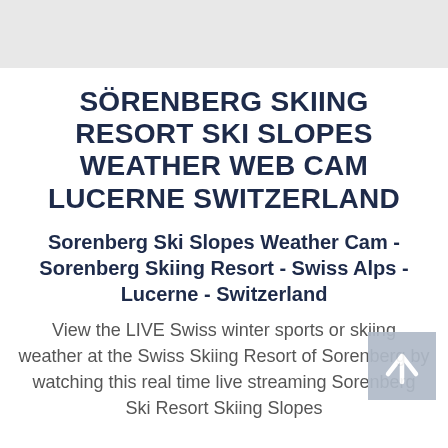SöRENBERG SKIING RESORT SKI SLOPES WEATHER WEB CAM LUCERNE SWITZERLAND
Sorenberg Ski Slopes Weather Cam - Sorenberg Skiing Resort - Swiss Alps - Lucerne - Switzerland
View the LIVE Swiss winter sports or skiing weather at the Swiss Skiing Resort of Sorenberg by watching this real time live streaming Sorenberg Ski Resort Skiing Slopes